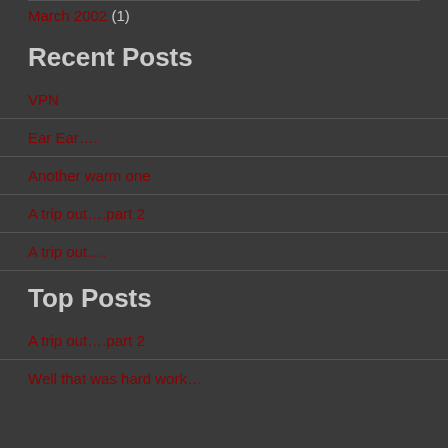November 2002 (2)
March 2002 (1)
Recent Posts
VPN
Ear Ear….
Another warm one
A trip out….part 2
A trip out….
Top Posts
A trip out….part 2
Well that was hard work…